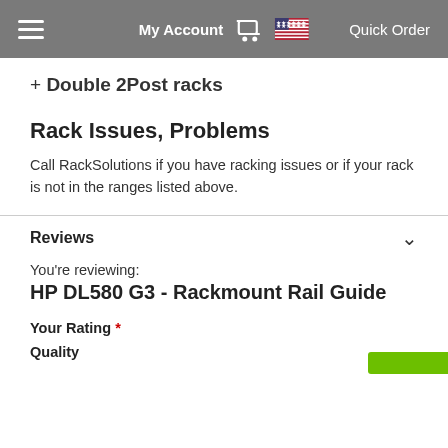My Account  Quick Order
+ Double 2Post racks
Rack Issues, Problems
Call RackSolutions if you have racking issues or if your rack is not in the ranges listed above.
Reviews
You're reviewing:
HP DL580 G3 - Rackmount Rail Guide
Your Rating *
Quality